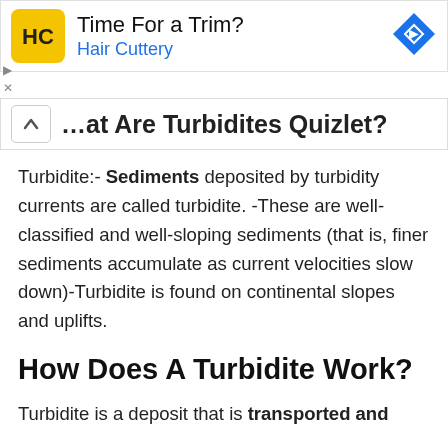[Figure (other): Advertisement banner for Hair Cuttery with logo (HC on yellow background), text 'Time For a Trim? Hair Cuttery', and a blue navigation arrow icon on the right. Small arrow and X icons at bottom left.]
...at Are Turbidites Quizlet?
Turbidite:- Sediments deposited by turbidity currents are called turbidite. -These are well-classified and well-sloping sediments (that is, finer sediments accumulate as current velocities slow down)-Turbidite is found on continental slopes and uplifts.
How Does A Turbidite Work?
Turbidite is a deposit that is transported and